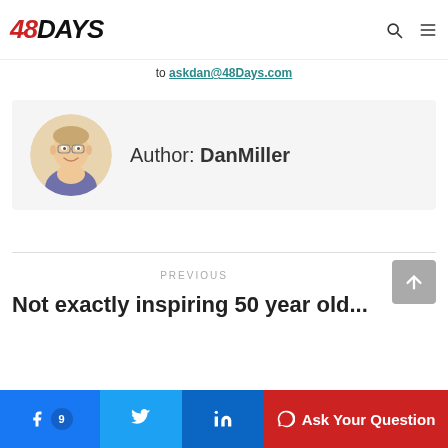48Days
to askdan@48Days.com
Author: DanMiller
PREVIOUS
Not exactly inspiring 50 year old...